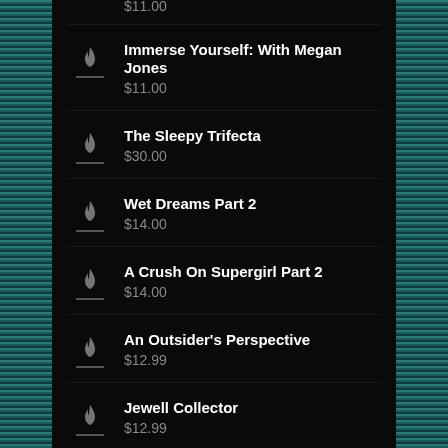Immerse Yourself: With Megan Jones
$11.00
The Sleepy Trifecta
$30.00
Wet Dreams Part 2
$14.00
A Crush On Supergirl Part 2
$14.00
An Outsider's Perspective
$12.99
Jewell Collector
$12.99